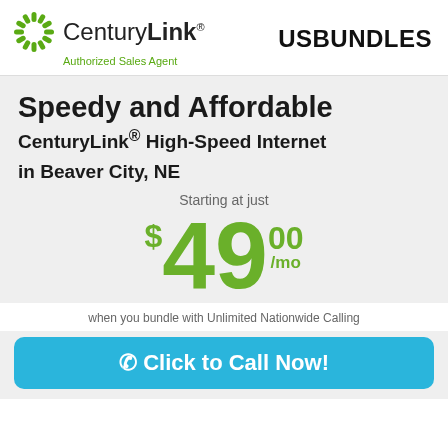[Figure (logo): CenturyLink sunburst logo with company name and 'Authorized Sales Agent' tagline in green]
USBUNDLES
Speedy and Affordable
CenturyLink® High-Speed Internet in Beaver City, NE
Starting at just $49.00/mo
when you bundle with Unlimited Nationwide Calling
Click to Call Now!